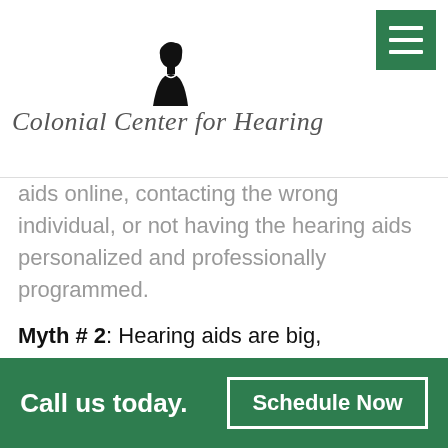[Figure (logo): Colonial Center for Hearing logo with silhouette of colonial figure and cursive text]
aids online, contacting the wrong individual, or not having the hearing aids personalized and professionally programmed.
Myth # 2: Hearing aids are big, cumbersome, and unattractive.
Reality: This one is particularly easy to disprove. Simply perform a quick Google image search for “attractive hearing aid designs” and you’ll see a variety of examples of sleek and colorful models
Call us today.   Schedule Now